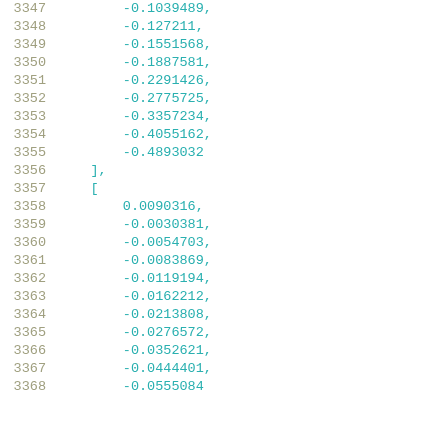3347  -0.1039489,
3348  -0.127211,
3349  -0.1551568,
3350  -0.1887581,
3351  -0.2291426,
3352  -0.2775725,
3353  -0.3357234,
3354  -0.4055162,
3355  -0.4893032
3356  ],
3357  [
3358  0.0090316,
3359  -0.0030381,
3360  -0.0054703,
3361  -0.0083869,
3362  -0.0119194,
3363  -0.0162212,
3364  -0.0213808,
3365  -0.0276572,
3366  -0.0352621,
3367  -0.0444401,
3368  -0.0555084